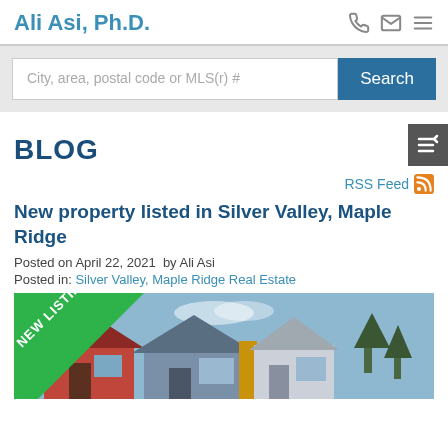Ali Asi, Ph.D.
[Figure (screenshot): Search bar with placeholder text 'City, area, postal code or MLS(r) #' and a blue Search button]
BLOG
RSS Feed
New property listed in Silver Valley, Maple Ridge
Posted on April 22, 2021  by Ali Asi
Posted in: Silver Valley, Maple Ridge Real Estate
[Figure (photo): Photo of a new listing property — houses with colorful siding under a blue sky, with a green 'NEW LISTING' diagonal banner overlay in the top-left corner]